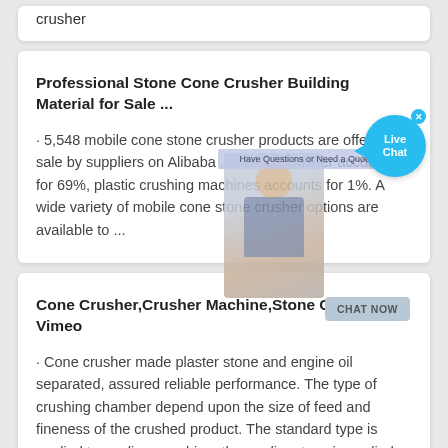crusher
Professional Stone Cone Crusher Building Material for Sale ...
· 5,548 mobile cone stone crusher products are offered for sale by suppliers on Alibaba , of which crusher accounts for 69%, plastic crushing machines accounts for 1%. A wide variety of mobile cone stone crusher options are available to ...
[Figure (other): Live Chat overlay with customer service representative image, chat banner saying 'Have Questions or Need a Quote?', blue Live Chat bubble, and CHAT NOW button]
Cone Crusher,Crusher Machine,Stone Crusher on Vimeo
· Cone crusher made plaster stone and engine oil separated, assured reliable performance. The type of crushing chamber depend upon the size of feed and fineness of the crushed product. The standard type is applied to medium crushing, the medium type is applied